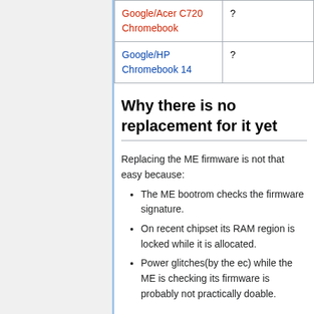| Device | Status |
| --- | --- |
| Google/Acer C720 Chromebook | ? |
| Google/HP Chromebook 14 | ? |
Why there is no replacement for it yet
Replacing the ME firmware is not that easy because:
The ME bootrom checks the firmware signature.
On recent chipset its RAM region is locked while it is allocated.
Power glitches(by the ec) while the ME is checking its firmware is probably not practically doable.